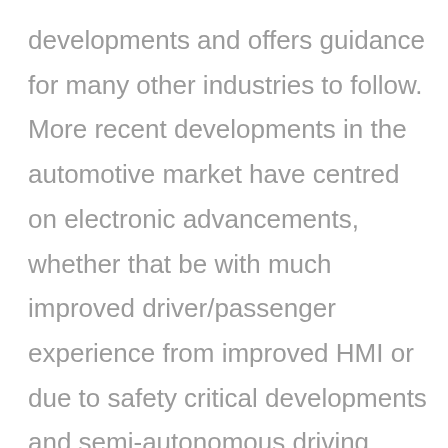developments and offers guidance for many other industries to follow. More recent developments in the automotive market have centred on electronic advancements, whether that be with much improved driver/passenger experience from improved HMI or due to safety critical developments and semi-autonomous driving features such as automatic braking and driver lane assistance, for example. Now, the focus is on the switch away from the internal combustion engine to environmentally conscious alternatives, most notably the electric